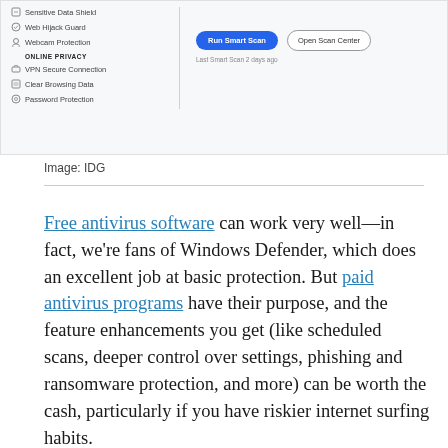[Figure (screenshot): Screenshot of an antivirus software UI showing options: Sensitive Data Shield, Web Hijack Guard, Webcam Protection under a panel; ONLINE PRIVACY section with VPN Secure Connection, Clear Browsing Data, Password Protection. Right side shows 'Run Smart Scan' blue button and 'Open Scan Center' outlined button, with 'Last Smart Scan 2 days ago' text below.]
Image: IDG
Free antivirus software can work very well—in fact, we're fans of Windows Defender, which does an excellent job at basic protection. But paid antivirus programs have their purpose, and the feature enhancements you get (like scheduled scans, deeper control over settings, phishing and ransomware protection, and more) can be worth the cash, particularly if you have riskier internet surfing habits.